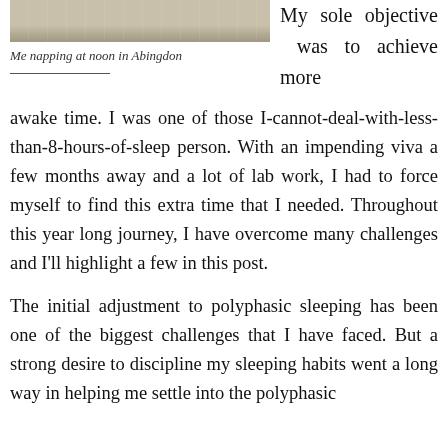[Figure (photo): A photo showing feet/shoes of a person lying down napping on a surface, taken from a low angle.]
Me napping at noon in Abingdon
My sole objective was to achieve more awake time. I was one of those I-cannot-deal-with-less-than-8-hours-of-sleep person. With an impending viva a few months away and a lot of lab work, I had to force myself to find this extra time that I needed. Throughout this year long journey, I have overcome many challenges and I'll highlight a few in this post.
The initial adjustment to polyphasic sleeping has been one of the biggest challenges that I have faced. But a strong desire to discipline my sleeping habits went a long way in helping me settle into the polyphasic